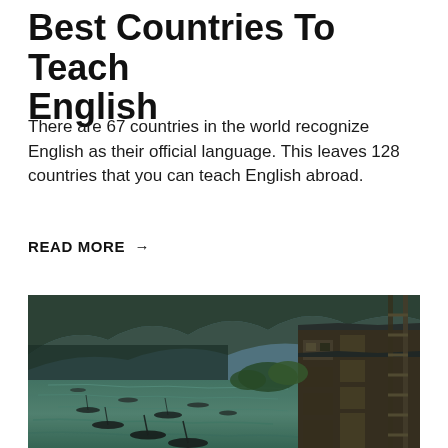Best Countries To Teach English
There are 67 countries in the world recognize English as their official language. This leaves 128 countries that you can teach English abroad.
READ MORE →
[Figure (photo): Aerial view of a river in a Chinese town (likely Fenghuang Ancient Town), with traditional wooden buildings on the right bank, boats on the water, and green hillside in the background.]